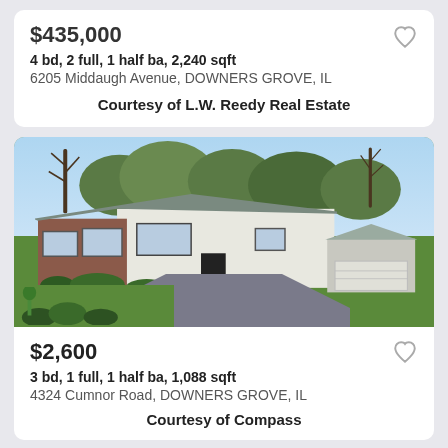$435,000
4 bd, 2 full, 1 half ba, 2,240 sqft
6205 Middaugh Avenue, DOWNERS GROVE, IL
Courtesy of L.W. Reedy Real Estate
[Figure (photo): Exterior photo of a ranch-style house at 4324 Cumnor Road, Downers Grove, IL. The house has a white exterior with brick accents, grey roof, attached garage, manicured shrubs, and a concrete driveway. Trees are visible in the background under a blue sky.]
$2,600
3 bd, 1 full, 1 half ba, 1,088 sqft
4324 Cumnor Road, DOWNERS GROVE, IL
Courtesy of Compass